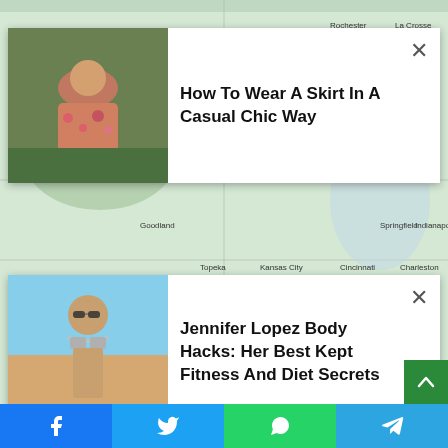[Figure (screenshot): Webpage screenshot showing a map of the central United States with two advertisement overlays. Ad 1: 'How To Wear A Skirt In A Casual Chic Way' with a close button. Ad 2: 'Jennifer Lopez Body Hacks: Her Best Kept Fitness And Diet Secrets' with a close button.]
The National Weather Service forecasts a tornado risk for December 15, 2021. (Source: NWS)
The second “never seen before” weather forecast released by the NWS concerns another type of weather threat: fire. In Colorado, Kansas, New Mexico, southern Nebraska, and the Oklahoma and Texas shooters, fire risk ranges from “highly elevated” to “critically critical.”